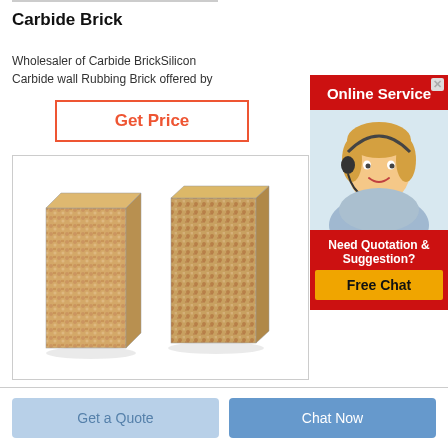Carbide Brick
Wholesaler of Carbide BrickSilicon Carbide wall Rubbing Brick offered by
Get Price
[Figure (photo): Two carbide/silicon carbide bricks standing upright, showing textured sandy surface]
Silic
Abr
Silico
Grinc
[Figure (infographic): Online Service advertisement with red banner, woman with headset, and Free Chat button]
Get a Quote
Chat Now